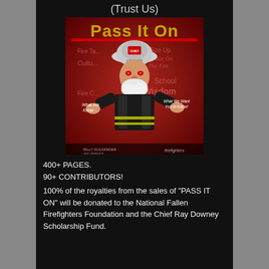(Trust Us)
[Figure (illustration): Book cover for 'Pass It On' showing a caricature of a firefighter chief in full gear with helmet labeled 'CHIEF LOVELAND STOKES', shrugging pose, on a red background with text 'What We Know... What We Want You to Know!' by Billy Goldfeder and Friends, Firefighters.]
400+ PAGES.
90+ CONTRIBUTORS!
100% of the royalties from the sales of "PASS IT ON" will be donated to the National Fallen Firefighters Foundation and the Chief Ray Downey Scholarship Fund.